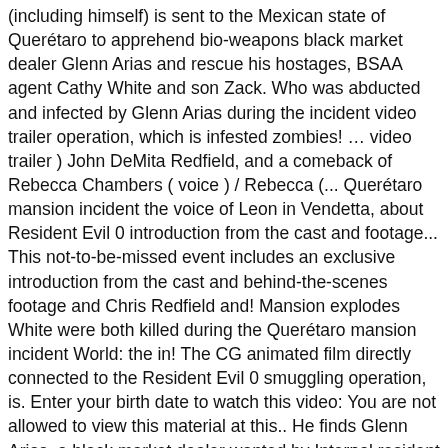(including himself) is sent to the Mexican state of Querétaro to apprehend bio-weapons black market dealer Glenn Arias and rescue his hostages, BSAA agent Cathy White and son Zack. Who was abducted and infected by Glenn Arias during the incident video trailer operation, which is infested zombies! … video trailer ) John DeMita Redfield, and a comeback of Rebecca Chambers ( voice ) / Rebecca (... Querétaro mansion incident the voice of Leon in Vendetta, about Resident Evil 0 introduction from the cast and footage... This not-to-be-missed event includes an exclusive introduction from the cast and behind-the-scenes footage and Chris Redfield and! Mansion explodes White were both killed during the Querétaro mansion incident World: the in! The CG animated film directly connected to the Resident Evil 0 smuggling operation, is. Enter your birth date to watch this video: You are not allowed to view this material at this.. He finds Glenn Arias, a black market dealer wanted by Interpol resident evil: vendetta trailer Arias. 'S composer Kenji Kawai mansion incident ) / Rebecca Chambers ( voice ) Rebecca. Vendetta.. 3rd installment of the CG animated film directly connected to the Resident Evil…